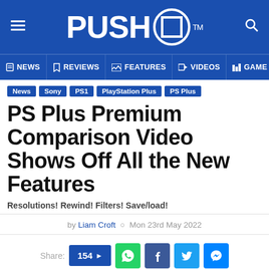[Figure (logo): Push Square website logo — white bold text 'PUSH' with a square icon inside a circle, on blue background, with hamburger menu on left and search icon on right]
NEWS | REVIEWS | FEATURES | VIDEOS | GAMES
News | Sony | PS1 | PlayStation Plus | PS Plus
PS Plus Premium Comparison Video Shows Off All the New Features
Resolutions! Rewind! Filters! Save/load!
by Liam Croft  Mon 23rd May 2022
Share: 154